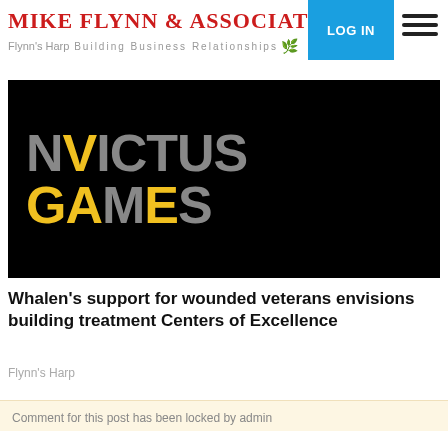MIKE FLYNN & ASSOCIATES — Building Business Relationships | Flynn's Harp
[Figure (logo): Invictus Games logo on black background — large text 'NVICTUS GAMES' with 'I' and 'A','M' letters highlighted in yellow, rest in dark grey, on solid black background.]
Whalen's support for wounded veterans envisions building treatment Centers of Excellence
Flynn's Harp
Comment for this post has been locked by admin